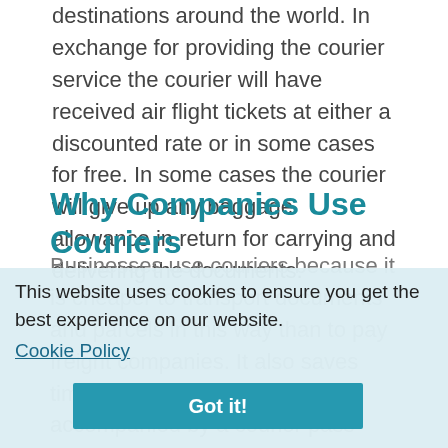destinations around the world. In exchange for providing the courier service the courier will have received air flight tickets at either a discounted rate or in some cases for free. In some cases the courier will give up any baggage allowance in return for carrying and delivering the documents.
Why Companies Use Couriers
Businesses use couriers because it is cheaper to transport documents and parcels in this way than to pay freight companies. It also saves time as the documents accompanied by a courier pass through customs a lot quicker. Using freight services means documents and parcels can sit in the customs area for days awaiting clearance. The courier will be responsible for picking up and delivering the
This website uses cookies to ensure you get the best experience on our website. Cookie Policy Got it!